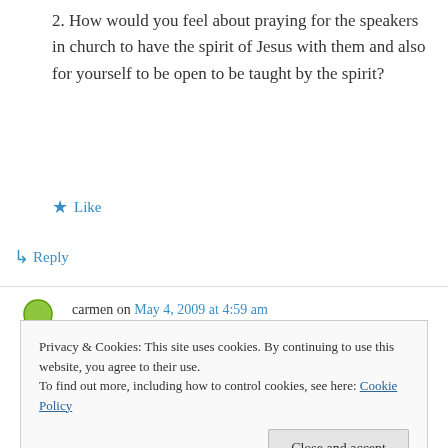2. How would you feel about praying for the speakers in church to have the spirit of Jesus with them and also for yourself to be open to be taught by the spirit?
★ Like
↳ Reply
carmen on May 4, 2009 at 4:59 am
👍 0 👎 0 ℹ Rate This
Privacy & Cookies: This site uses cookies. By continuing to use this website, you agree to their use.
To find out more, including how to control cookies, see here: Cookie Policy
Close and accept
haben wir gemeinsame Freunde. Bin auch hier